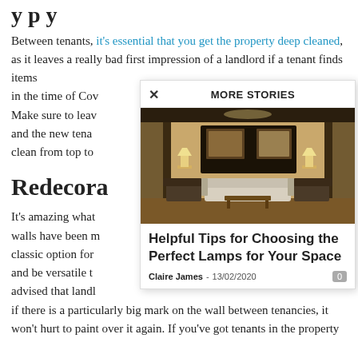y p y
Between tenants, it's essential that you get the property deep cleaned, as it leaves a really bad first impression of a landlord if a tenant finds items in the time of Cov Make sure to leav and the new tena clean from top to
Redecora
It's amazing what walls have been m classic option for and be versatile t advised that landl if there is a particularly big mark on the wall between tenancies, it won't hurt to paint over it again. If you've got tenants in the property
[Figure (screenshot): MORE STORIES overlay panel showing a living room interior photo and article: Helpful Tips for Choosing the Perfect Lamps for Your Space by Claire James, 13/02/2020]
Helpful Tips for Choosing the Perfect Lamps for Your Space - Claire James - 13/02/2020